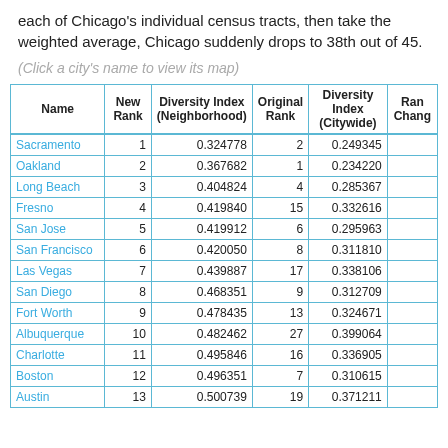each of Chicago's individual census tracts, then take the weighted average, Chicago suddenly drops to 38th out of 45.
(Click a city's name to view its map)
| Name | New Rank | Diversity Index (Neighborhood) | Original Rank | Diversity Index (Citywide) | Rank Change |
| --- | --- | --- | --- | --- | --- |
| Sacramento | 1 | 0.324778 | 2 | 0.249345 |  |
| Oakland | 2 | 0.367682 | 1 | 0.234220 |  |
| Long Beach | 3 | 0.404824 | 4 | 0.285367 |  |
| Fresno | 4 | 0.419840 | 15 | 0.332616 |  |
| San Jose | 5 | 0.419912 | 6 | 0.295963 |  |
| San Francisco | 6 | 0.420050 | 8 | 0.311810 |  |
| Las Vegas | 7 | 0.439887 | 17 | 0.338106 |  |
| San Diego | 8 | 0.468351 | 9 | 0.312709 |  |
| Fort Worth | 9 | 0.478435 | 13 | 0.324671 |  |
| Albuquerque | 10 | 0.482462 | 27 | 0.399064 |  |
| Charlotte | 11 | 0.495846 | 16 | 0.336905 |  |
| Boston | 12 | 0.496351 | 7 | 0.310615 |  |
| Austin | 13 | 0.500739 | 19 | 0.371211 |  |